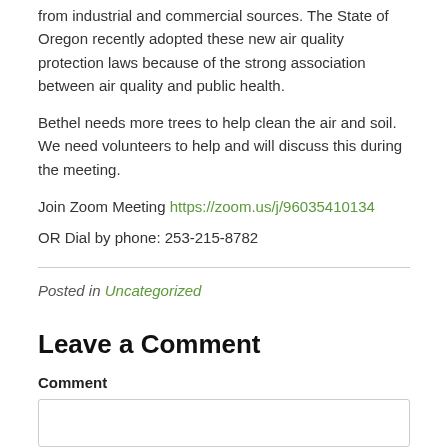from industrial and commercial sources. The State of Oregon recently adopted these new air quality protection laws because of the strong association between air quality and public health.
Bethel needs more trees to help clean the air and soil. We need volunteers to help and will discuss this during the meeting.
Join Zoom Meeting https://zoom.us/j/96035410134
OR Dial by phone: 253-215-8782
Posted in Uncategorized
Leave a Comment
Comment